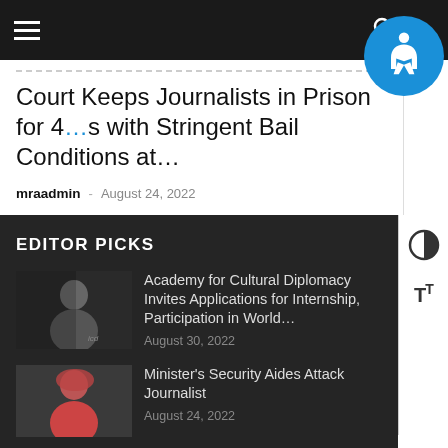Navigation header with hamburger menu and search icon
Court Keeps Journalists in Prison for 4… with Stringent Bail Conditions at…
mraadmin · August 24, 2022
EDITOR PICKS
[Figure (photo): Thumbnail photo of a man in a suit with ICD logo]
Academy for Cultural Diplomacy Invites Applications for Internship, Participation in World…
August 30, 2022
[Figure (photo): Thumbnail photo of a woman in a red headscarf]
Minister's Security Aides Attack Journalist
August 24, 2022